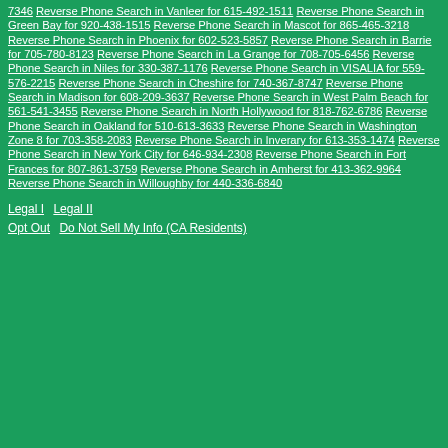7346 Reverse Phone Search in Vanleer for 615-492-1511
Reverse Phone Search in Green Bay for 920-438-1515
Reverse Phone Search in Mascot for 865-465-3218
Reverse Phone Search in Phoenix for 602-523-5857
Reverse Phone Search in Barrie for 705-780-8123
Reverse Phone Search in La Grange for 708-705-6456
Reverse Phone Search in Niles for 330-387-1176
Reverse Phone Search in VISALIA for 559-576-2215
Reverse Phone Search in Cheshire for 740-367-8747
Reverse Phone Search in Madison for 608-209-3637
Reverse Phone Search in West Palm Beach for 561-541-3455
Reverse Phone Search in North Hollywood for 818-762-6786
Reverse Phone Search in Oakland for 510-613-3633
Reverse Phone Search in Washington Zone 8 for 703-358-2083
Reverse Phone Search in Inverary for 613-353-1474
Reverse Phone Search in New York City for 646-934-2308
Reverse Phone Search in Fort Frances for 807-861-3759
Reverse Phone Search in Amherst for 413-362-9964
Reverse Phone Search in Willoughby for 440-336-6840
Legal I   Legal II   Opt Out   Do Not Sell My Info (CA Residents)